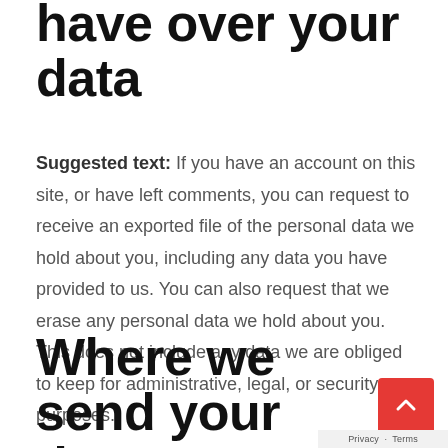have over your data
Suggested text: If you have an account on this site, or have left comments, you can request to receive an exported file of the personal data we hold about you, including any data you have provided to us. You can also request that we erase any personal data we hold about you. This does not include any data we are obliged to keep for administrative, legal, or security purposes.
Where we send your data